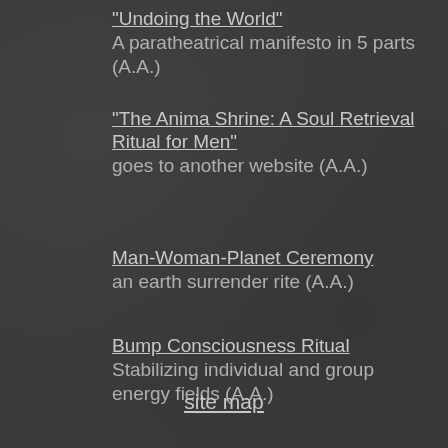"Undoing the World"
A paratheatrical manifesto in 5 parts (A.A.)
"The Anima Shrine: A Soul Retrieval Ritual for Men"
goes to another website (A.A.)
Man-Woman-Planet Ceremony
an earth surrender rite (A.A.)
Bump Consciousness Ritual
Stabilizing individual and group energy fields (A.A.)
site map